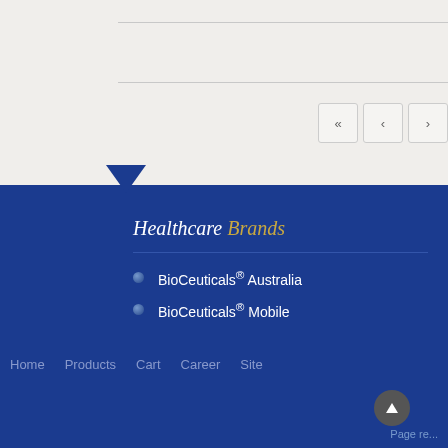[Figure (screenshot): Top light gray section with two horizontal divider lines and pagination buttons (« ‹ …) at right]
Healthcare Brands
BioCeuticals® Australia
BioCeuticals® Mobile
Home   Products   Cart   Career   Site